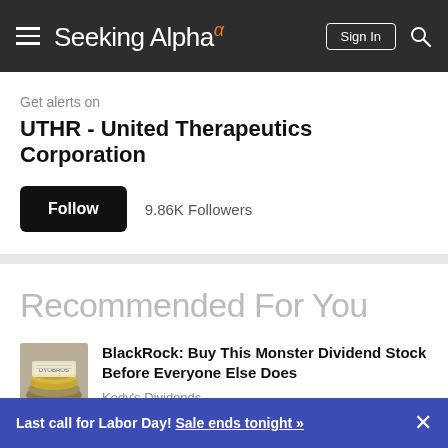Seeking Alpha
Get alerts on
UTHR - United Therapeutics Corporation
Follow  9.86K Followers
Recommended For You
BlackRock: Buy This Monster Dividend Stock Before Everyone Else Does
Kody's Dividends
Last call for Labor Day! Sale ends tonight »